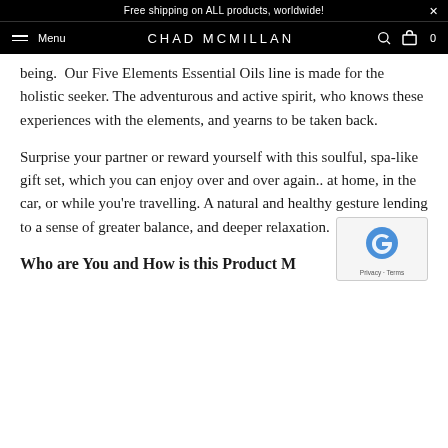Free shipping on ALL products, worldwide!
Menu  CHAD MCMILLAN  0
being.  Our Five Elements Essential Oils line is made for the holistic seeker. The adventurous and active spirit, who knows these experiences with the elements, and yearns to be taken back.
Surprise your partner or reward yourself with this soulful, spa-like gift set, which you can enjoy over and over again.. at home, in the car, or while you're travelling. A natural and healthy gesture lending to a sense of greater balance, and deeper relaxation.
Who are You and How is this Product M